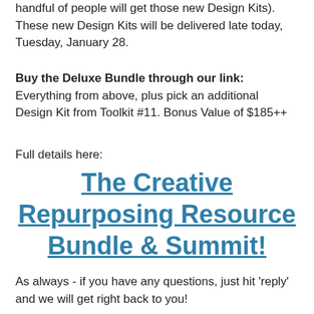handful of people will get those new Design Kits). These new Design Kits will be delivered late today, Tuesday, January 28.
Buy the Deluxe Bundle through our link: Everything from above, plus pick an additional Design Kit from Toolkit #11. Bonus Value of $185++
Full details here:
The Creative Repurposing Resource Bundle & Summit!
As always - if you have any questions, just hit 'reply' and we will get right back to you!